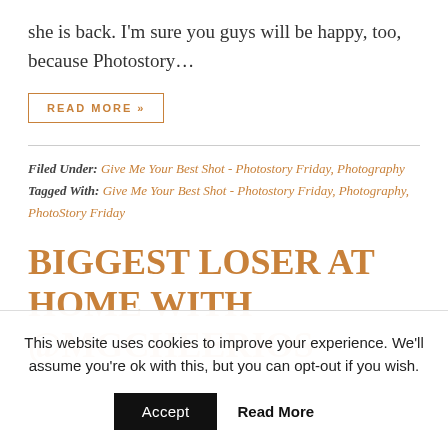she is back. I'm sure you guys will be happy, too, because Photostory…
READ MORE »
Filed Under: Give Me Your Best Shot - Photostory Friday, Photography
Tagged With: Give Me Your Best Shot - Photostory Friday, Photography, PhotoStory Friday
BIGGEST LOSER AT HOME WITH @MGCHEERIOS
This website uses cookies to improve your experience. We'll assume you're ok with this, but you can opt-out if you wish.
Accept  Read More